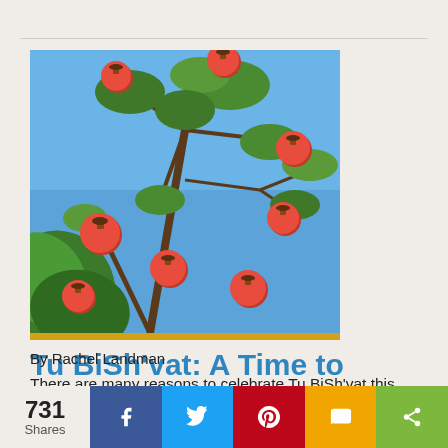[Figure (photo): Pomegranate tree with red pomegranates hanging from branches against a blue sky, with palm fronds visible in the lower left]
Tu BiSh'vat: A Time to Celebrate Environmental Justice
By Rachel Landman
There are many reasons to celebrate Tu BiSh'vat this year, as this has been an exciting year for
731 Shares  [Facebook] [Twitter] [Pinterest] [SMS] [Share]